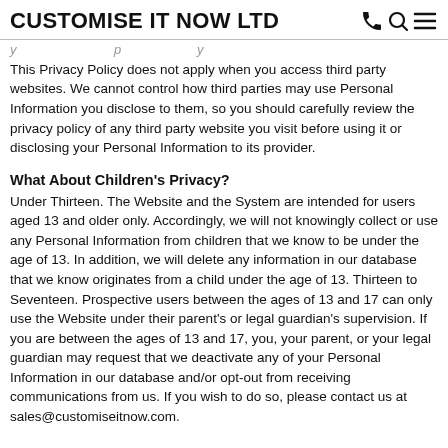CUSTOMISE IT NOW LTD
This Privacy Policy does not apply when you access third party websites. We cannot control how third parties may use Personal Information you disclose to them, so you should carefully review the privacy policy of any third party website you visit before using it or disclosing your Personal Information to its provider.
What About Children's Privacy?
Under Thirteen. The Website and the System are intended for users aged 13 and older only. Accordingly, we will not knowingly collect or use any Personal Information from children that we know to be under the age of 13. In addition, we will delete any information in our database that we know originates from a child under the age of 13. Thirteen to Seventeen. Prospective users between the ages of 13 and 17 can only use the Website under their parent's or legal guardian's supervision. If you are between the ages of 13 and 17, you, your parent, or your legal guardian may request that we deactivate any of your Personal Information in our database and/or opt-out from receiving communications from us. If you wish to do so, please contact us at sales@customiseitnow.com.